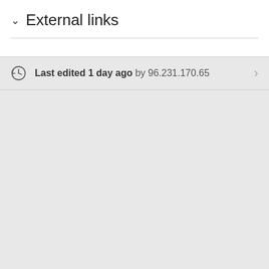External links
Last edited 1 day ago by 96.231.170.65